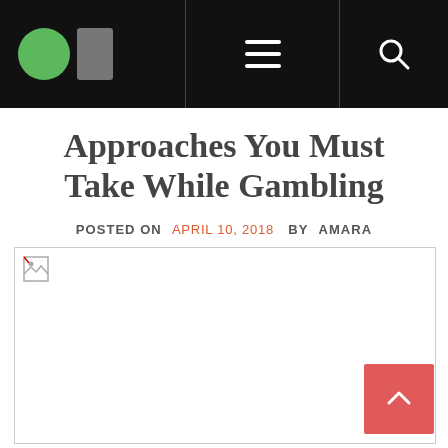Navigation bar with logo, hamburger menu, and search icon
Approaches You Must Take While Gambling
POSTED ON APRIL 10, 2018  BY AMARA
[Figure (photo): Broken/missing image placeholder for a gambling-related article image]